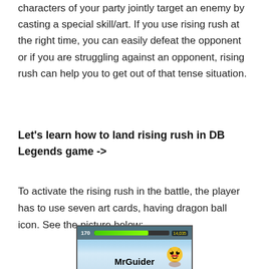characters of your party jointly target an enemy by casting a special skill/art. If you use rising rush at the right time, you can easily defeat the opponent or if you are struggling against an opponent, rising rush can help you to get out of that tense situation.
Let's learn how to land rising rush in DB Legends game ->
To activate the rising rush in the battle, the player has to use seven art cards, having dragon ball icon. See the picture below: –
[Figure (screenshot): Screenshot of a DB Legends game battle screen showing HP bar with green fill, score counter reading 14,035, and MrGuider watermark with a Pokemon character icon]